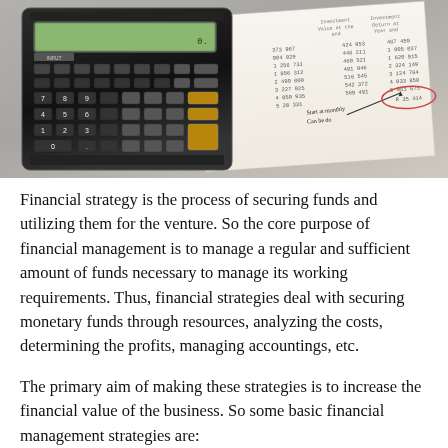[Figure (photo): A scientific calculator placed on top of a financial document/spreadsheet with numbers and handwritten annotations, on a light background.]
Financial strategy is the process of securing funds and utilizing them for the venture. So the core purpose of financial management is to manage a regular and sufficient amount of funds necessary to manage its working requirements. Thus, financial strategies deal with securing monetary funds through resources, analyzing the costs, determining the profits, managing accountings, etc.
The primary aim of making these strategies is to increase the financial value of the business. So some basic financial management strategies are: